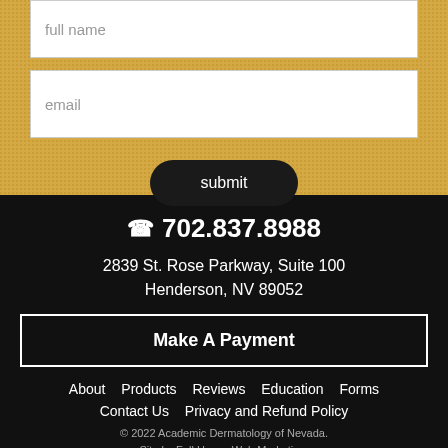full name
email
submit
702.837.8988
2839 St. Rose Parkway, Suite 100
Henderson, NV 89052
Make A Payment
About   Products   Reviews   Education   Forms
Contact Us   Privacy and Refund Policy
© 2022 Academic Dermatology of Nevada.
Site by Full House Web Marketing.